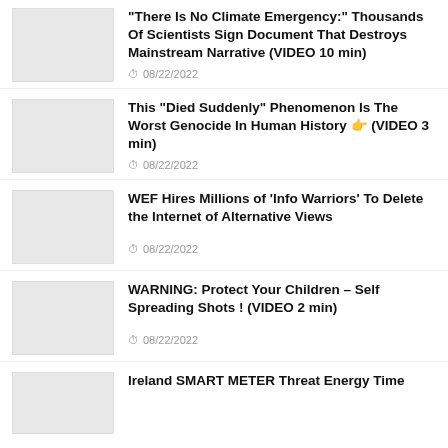“There Is No Climate Emergency:” Thousands Of Scientists Sign Document That Destroys Mainstream Narrative (VIDEO 10 min)
08/22/2022
This “Died Suddenly” Phenomenon Is The Worst Genocide In Human History 👉 (VIDEO 3 min)
08/22/2022
WEF Hires Millions of ‘Info Warriors’ To Delete the Internet of Alternative Views
08/22/2022
WARNING: Protect Your Children – Self Spreading Shots ! (VIDEO 2 min)
08/22/2022
Ireland SMART METER Threat Energy Time